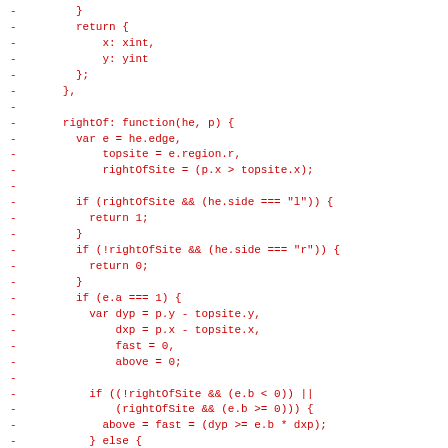Code diff showing deleted lines (in red) of JavaScript code including a rightOf function with edge, topsite, and rightOfSite variable declarations and conditional logic.